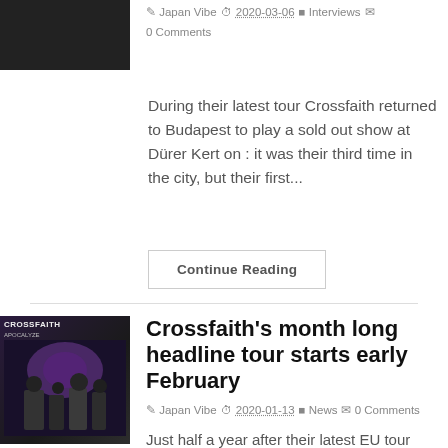[Figure (photo): Dark/black thumbnail image of a band at top left corner]
Japan Vibe  2020-03-06  Interviews  0 Comments
During their latest tour Crossfaith returned to Budapest to play a sold out show at Dürer Kert on : it was their third time in the city, but their first...
Continue Reading
[Figure (photo): Black and purple album/band photo with CROSSFAITH text at top]
Crossfaith's month long headline tour starts early February
Japan Vibe  2020-01-13  News  0 Comments
Just half a year after their latest EU tour Crossfaith will return to the continent yet again, but while that tour last August was